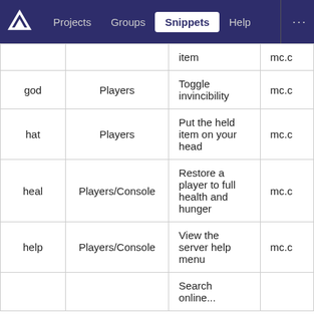Projects  Groups  Snippets  Help  ...
| Command | Available To | Description | Permission |
| --- | --- | --- | --- |
|  |  | item | mc.c |
| god | Players | Toggle invincibility | mc.c |
| hat | Players | Put the held item on your head | mc.c |
| heal | Players/Console | Restore a player to full health and hunger | mc.c |
| help | Players/Console | View the server help menu | mc.c |
|  |  | Search online... |  |